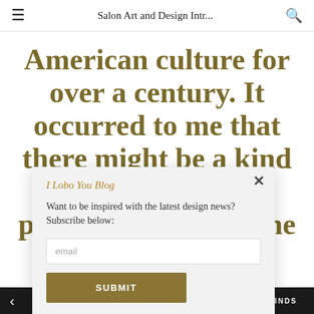Salon Art and Design Intr...
American culture for over a century. It occurred to me that there might be a kind of retro-chic in producing a magazine
I Lobo You Blog
Want to be inspired with the latest design news? Subscribe below:
email
SUBMIT
IMPACTFUL MINDS